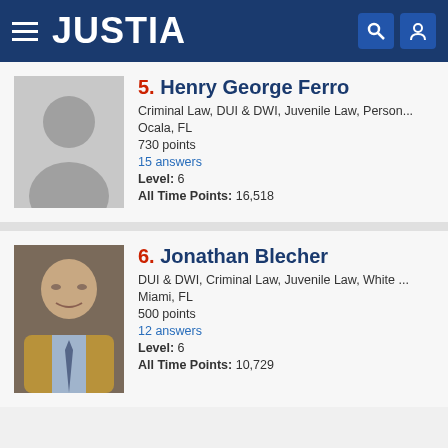JUSTIA
5. Henry George Ferro
Criminal Law, DUI & DWI, Juvenile Law, Person...
Ocala, FL
730 points
15 answers
Level: 6
All Time Points: 16,518
6. Jonathan Blecher
DUI & DWI, Criminal Law, Juvenile Law, White ...
Miami, FL
500 points
12 answers
Level: 6
All Time Points: 10,729